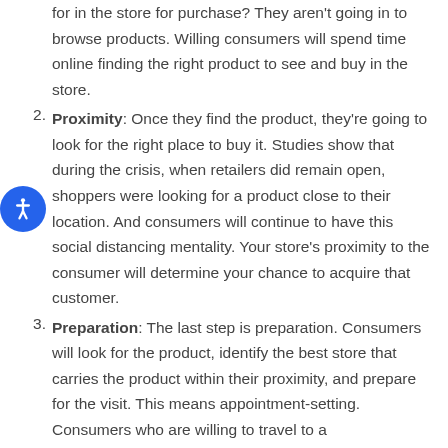for in the store for purchase? They aren't going in to browse products. Willing consumers will spend time online finding the right product to see and buy in the store.
Proximity: Once they find the product, they're going to look for the right place to buy it. Studies show that during the crisis, when retailers did remain open, shoppers were looking for a product close to their location. And consumers will continue to have this social distancing mentality. Your store's proximity to the consumer will determine your chance to acquire that customer.
Preparation: The last step is preparation. Consumers will look for the product, identify the best store that carries the product within their proximity, and prepare for the visit. This means appointment-setting. Consumers who are willing to travel to a